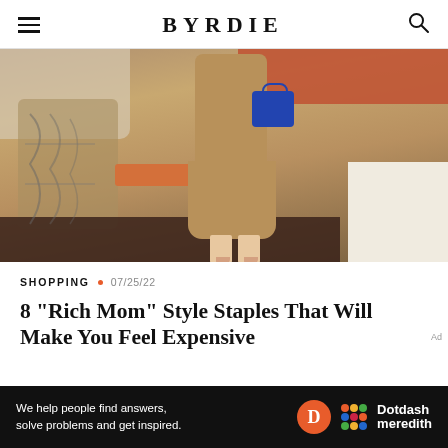BYRDIE
[Figure (photo): Woman in a camel-colored outfit holding a small blue handbag, standing on a terrace with terracotta roof tiles and ornate ironwork railing in the background.]
SHOPPING • 07/25/22
8 "Rich Mom" Style Staples That Will Make You Feel Expensive
Ad
We help people find answers, solve problems and get inspired. Dotdash meredith